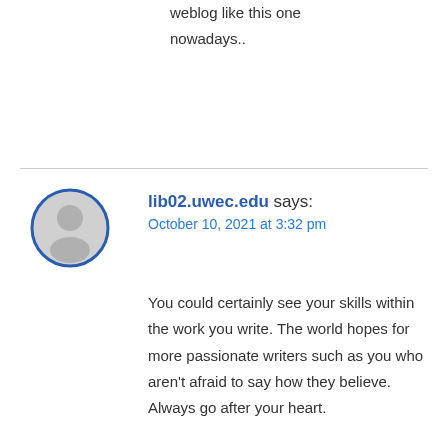weblog like this one nowadays..
lib02.uwec.edu says:
October 10, 2021 at 3:32 pm
You could certainly see your skills within the work you write. The world hopes for more passionate writers such as you who aren't afraid to say how they believe. Always go after your heart.